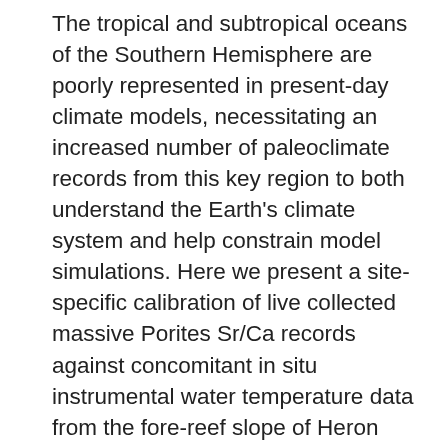The tropical and subtropical oceans of the Southern Hemisphere are poorly represented in present-day climate models, necessitating an increased number of paleoclimate records from this key region to both understand the Earth's climate system and help constrain model simulations. Here we present a site-specific calibration of live collected massive Porites Sr/Ca records against concomitant in situ instrumental water temperature data from the fore-reef slope of Heron Reef, southern Great Barrier Reef (GBR). The resultant calibration, and a previously published Acropora calibration from the same site, was applied to subfossil coral material to investigate Holocene water temperatures at Heron Reef. U-Th-dated samples of massive Porites suggest cooler water temperatures with reduced seasonal amplitude at ~5.2 ka (2.76–1.31ï¿½C cooler than present) and ~7 ka (1.26ï¿½C cooler than present) at Heron Reef. These results